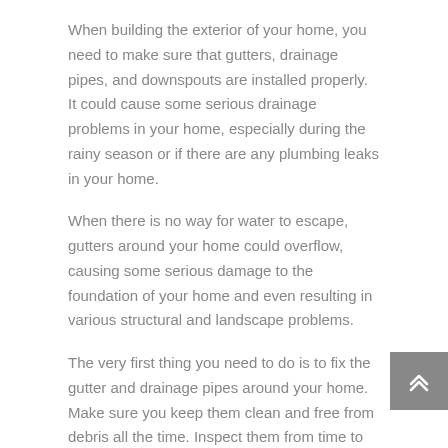When building the exterior of your home, you need to make sure that gutters, drainage pipes, and downspouts are installed properly. It could cause some serious drainage problems in your home, especially during the rainy season or if there are any plumbing leaks in your home.
When there is no way for water to escape, gutters around your home could overflow, causing some serious damage to the foundation of your home and even resulting in various structural and landscape problems.
The very first thing you need to do is to fix the gutter and drainage pipes around your home. Make sure you keep them clean and free from debris all the time. Inspect them from time to time, just to make sure there's nothing solid objects, dirt, mud, or dead leaves that could possibly cause blockage.
Improper Leveling or Grading of Land
e problem is to come up with an alternate drainage system if your land